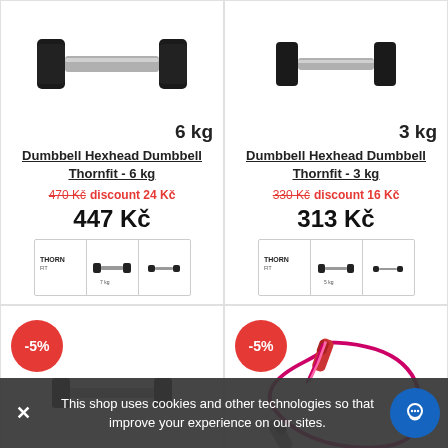[Figure (photo): Hexhead dumbbell 6 kg product photo]
6 kg
Dumbbell Hexhead Dumbbell Thornfit - 6 kg
470 Kč discount 24 Kč
447 Kč
[Figure (photo): Thumbnail strip for 6 kg dumbbell variants]
[Figure (photo): Hexhead dumbbell 3 kg product photo]
3 kg
Dumbbell Hexhead Dumbbell Thornfit - 3 kg
330 Kč discount 16 Kč
313 Kč
[Figure (photo): Thumbnail strip for 3 kg dumbbell variants]
-5%
[Figure (photo): Bottom left product partial]
-5%
[Figure (photo): Jump rope product photo - pink/red rope]
This shop uses cookies and other technologies so that improve your experience on our sites.